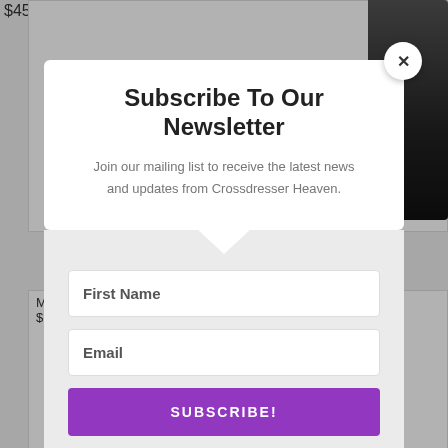$45.00
MA
$11
Subscribe To Our Newsletter
Join our mailing list to receive the latest news and updates from Crossdresser Heaven.
First Name
Email
SUBSCRIBE!
We hate spam too, unsubscribe at any time.
Sha
As we
comm
welc
Pleas
who r
5